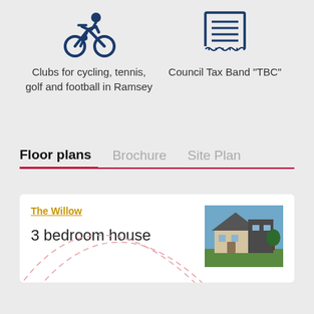[Figure (illustration): Navy blue cycling/bicycle icon]
Clubs for cycling, tennis, golf and football in Ramsey
[Figure (illustration): Navy blue document/receipt icon]
Council Tax Band "TBC"
Floor plans  Brochure  Site Plan
The Willow
3 bedroom house
[Figure (photo): Photo of a modern house with grey slate roof and beige rendered walls]